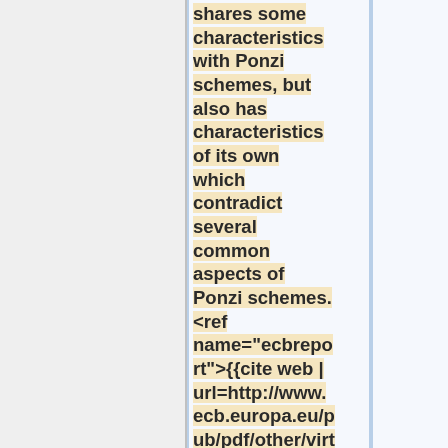shares some characteristics with Ponzi schemes, but also has characteristics of its own which contradict several common aspects of Ponzi schemes. <ref name="ecbreport">{{cite web | url=http://www.ecb.europa.eu/pub/pdf/other/virtualcurrencyschemes201210en.pdf | title=Virtual c